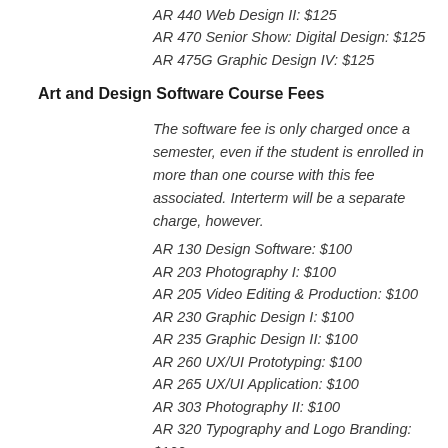AR 440 Web Design II: $125
AR 470 Senior Show: Digital Design: $125
AR 475G Graphic Design IV: $125
Art and Design Software Course Fees
The software fee is only charged once a semester, even if the student is enrolled in more than one course with this fee associated. Interterm will be a separate charge, however.
AR 130 Design Software: $100
AR 203 Photography I: $100
AR 205 Video Editing & Production: $100
AR 230 Graphic Design I: $100
AR 235 Graphic Design II: $100
AR 260 UX/UI Prototyping: $100
AR 265 UX/UI Application: $100
AR 303 Photography II: $100
AR 320 Typography and Logo Branding: $100
AR 330 Graphic Design III: $100
AR 335 Design Software II: $100
AR 340 Web Design I: $100
AR 440 Web Design II: $100